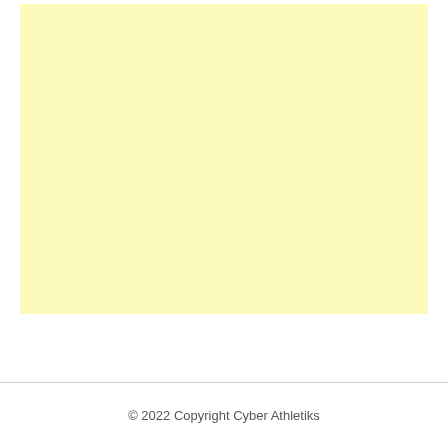[Figure (other): Large pale yellow rectangle filling the upper portion of the page]
© 2022 Copyright Cyber Athletiks